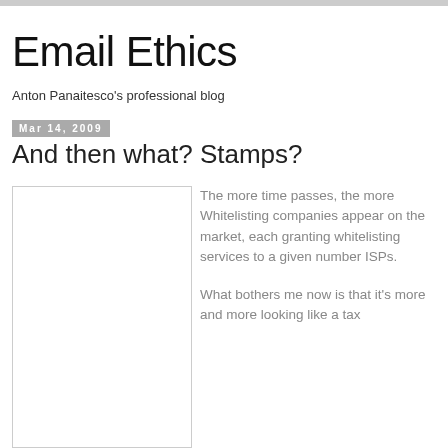Email Ethics
Anton Panaitesco's professional blog
Mar 14, 2009
And then what? Stamps?
[Figure (other): White rectangular image placeholder]
The more time passes, the more Whitelisting companies appear on the market, each granting whitelisting services to a given number ISPs.

What bothers me now is that it's more and more looking like a tax